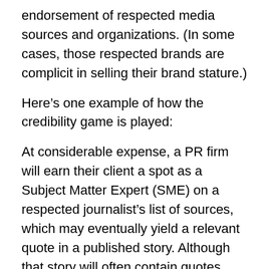endorsement of respected media sources and organizations. (In some cases, those respected brands are complicit in selling their brand stature.)
Here’s one example of how the credibility game is played:
At considerable expense, a PR firm will earn their client a spot as a Subject Matter Expert (SME) on a respected journalist’s list of sources, which may eventually yield a relevant quote in a published story. Although that story will often contain quotes from other SMEs, including the client’s competitors – making the coverage useless from a sales and marketing perspective – the PR firm will hype this “earned media placement” in several ways, including:
A press release announcing that the client has been FEATURED in Forbes, Fortune, CNBC, the Wall Street Journal, etc.